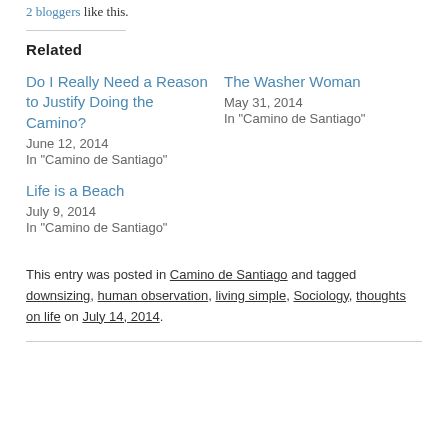2 bloggers like this.
Related
Do I Really Need a Reason to Justify Doing the Camino?
June 12, 2014
In "Camino de Santiago"
The Washer Woman
May 31, 2014
In "Camino de Santiago"
Life is a Beach
July 9, 2014
In "Camino de Santiago"
This entry was posted in Camino de Santiago and tagged downsizing, human observation, living simple, Sociology, thoughts on life on July 14, 2014.